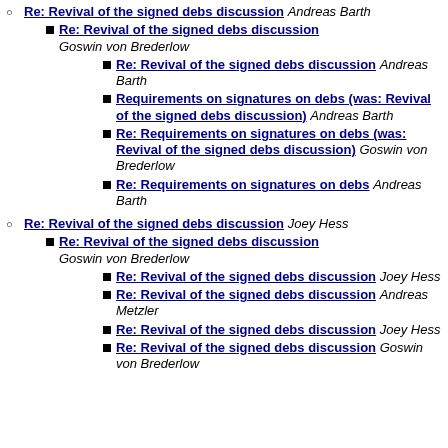Re: Revival of the signed debs discussion Andreas Barth
Re: Revival of the signed debs discussion Goswin von Brederlow
Re: Revival of the signed debs discussion Andreas Barth
Requirements on signatures on debs (was: Revival of the signed debs discussion) Andreas Barth
Re: Requirements on signatures on debs (was: Revival of the signed debs discussion) Goswin von Brederlow
Re: Requirements on signatures on debs Andreas Barth
Re: Revival of the signed debs discussion Joey Hess
Re: Revival of the signed debs discussion Goswin von Brederlow
Re: Revival of the signed debs discussion Joey Hess
Re: Revival of the signed debs discussion Andreas Metzler
Re: Revival of the signed debs discussion Joey Hess
Re: Revival of the signed debs discussion Goswin von Brederlow